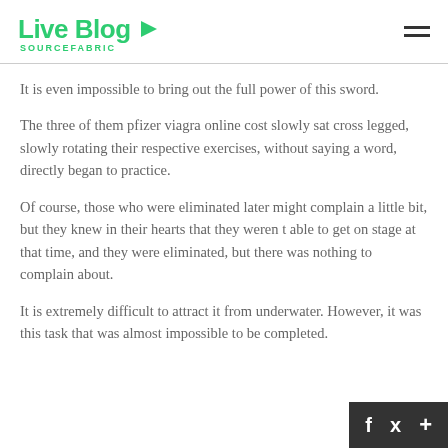Live Blog SOURCEFABRIC
It is even impossible to bring out the full power of this sword.
The three of them pfizer viagra online cost slowly sat cross legged, slowly rotating their respective exercises, without saying a word, directly began to practice.
Of course, those who were eliminated later might complain a little bit, but they knew in their hearts that they weren t able to get on stage at that time, and they were eliminated, but there was nothing to complain about.
It is extremely difficult to attract it from underwater. However, it was this task that was almost impossible to be completed.